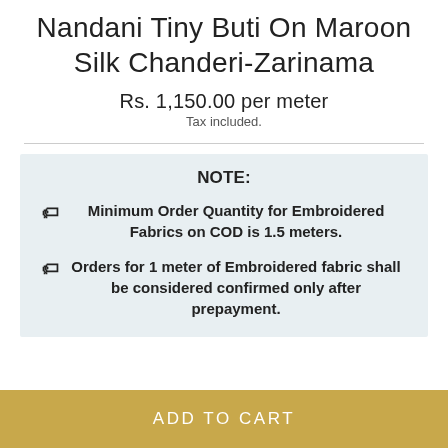Nandani Tiny Buti On Maroon Silk Chanderi-Zarinama
Rs. 1,150.00 per meter
Tax included.
NOTE:
🏷 Minimum Order Quantity for Embroidered Fabrics on COD is 1.5 meters.
🏷 Orders for 1 meter of Embroidered fabric shall be considered confirmed only after prepayment.
ADD TO CART